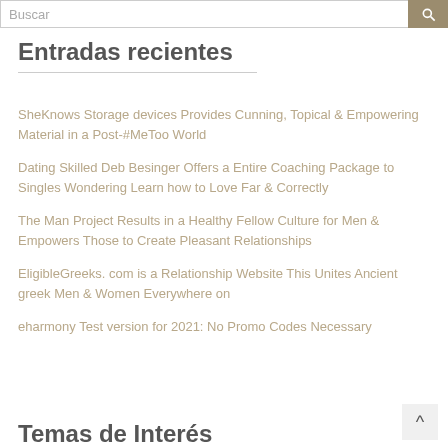Entradas recientes
SheKnows Storage devices Provides Cunning, Topical & Empowering Material in a Post-#MeToo World
Dating Skilled Deb Besinger Offers a Entire Coaching Package to Singles Wondering Learn how to Love Far & Correctly
The Man Project Results in a Healthy Fellow Culture for Men & Empowers Those to Create Pleasant Relationships
EligibleGreeks. com is a Relationship Website This Unites Ancient greek Men & Women Everywhere on
eharmony Test version for 2021: No Promo Codes Necessary
Temas de Interés